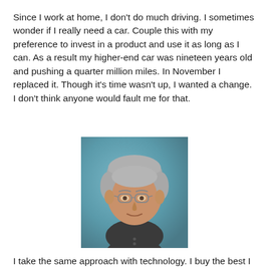Since I work at home, I don't do much driving. I sometimes wonder if I really need a car. Couple this with my preference to invest in a product and use it as long as I can. As a result my higher-end car was nineteen years old and pushing a quarter million miles. In November I replaced it. Though it's time wasn't up, I wanted a change. I don't think anyone would fault me for that.
[Figure (photo): Portrait photo of a middle-aged man with gray hair and glasses, wearing a dark gray henley shirt, smiling slightly, against a blue-gray background.]
I take the same approach with technology. I buy the best I can